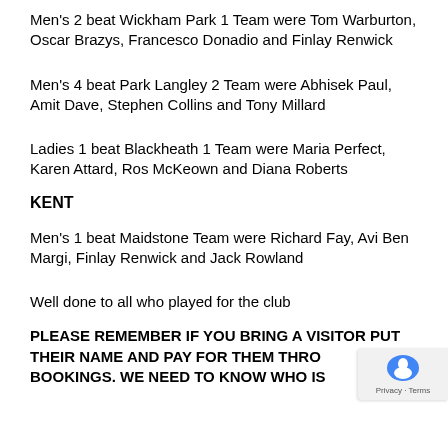Men's 2  beat Wickham Park 1  Team were Tom Warburton, Oscar Brazys, Francesco Donadio and Finlay Renwick
Men's 4 beat Park Langley 2 Team were Abhisek Paul, Amit Dave, Stephen Collins and Tony Millard
Ladies 1 beat Blackheath 1  Team were Maria Perfect, Karen Attard, Ros McKeown and Diana Roberts
KENT
Men's 1 beat Maidstone Team were Richard Fay, Avi Ben Margi, Finlay Renwick and Jack Rowland
Well done to all who played for the club
PLEASE REMEMBER IF YOU BRING A VISITOR PUT THEIR NAME AND PAY FOR THEM  THROUGH BOOKINGS. WE NEED TO KNOW WHO IS PLAYING AT THE CLUB. REMEMBER A GREAT